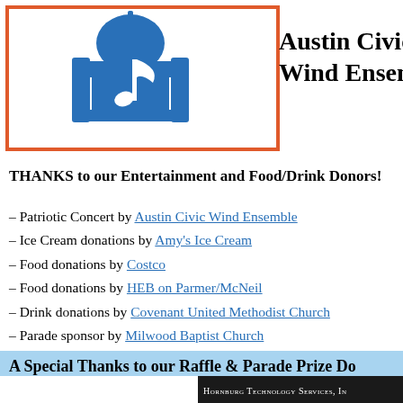[Figure (logo): Austin Civic Wind Ensemble logo — blue silhouette of capitol dome with musical note, inside an orange-bordered box, with organization name to the right]
THANKS to our Entertainment and Food/Drink Donors!
– Patriotic Concert by Austin Civic Wind Ensemble
– Ice Cream donations by Amy's Ice Cream
– Food donations by Costco
– Food donations by HEB on Parmer/McNeil
– Drink donations by Covenant United Methodist Church
– Parade sponsor by Milwood Baptist Church
A Special Thanks to our Raffle & Parade Prize Do
Hornburg Technology Services, In